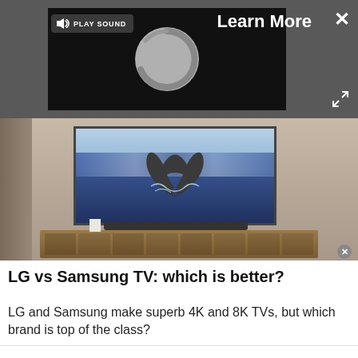[Figure (screenshot): Video advertisement overlay with dark gray background. Shows a video panel with black background containing a circular loading spinner. Has a 'PLAY SOUND' button with speaker icon on top left of the video, 'Learn More' text in white on the right, an X close button top-right corner, and an expand icon bottom-right.]
[Figure (photo): Photo of a large flat-screen TV mounted on a wall in a modern living room. The TV screen shows a whale tail breaching the ocean surface. Below the TV is a wooden media console/credenza with a soundbar. The room has a neutral beige/tan wall.]
LG vs Samsung TV: which is better?
LG and Samsung make superb 4K and 8K TVs, but which brand is top of the class?